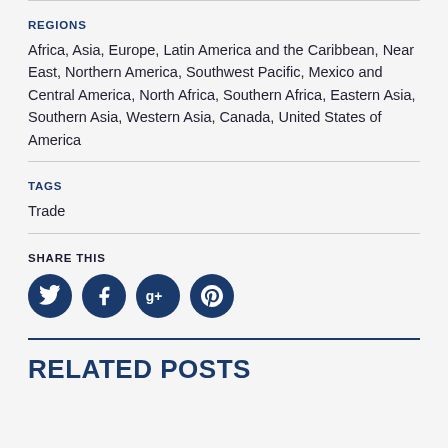REGIONS
Africa, Asia, Europe, Latin America and the Caribbean, Near East, Northern America, Southwest Pacific, Mexico and Central America, North Africa, Southern Africa, Eastern Asia, Southern Asia, Western Asia, Canada, United States of America
TAGS
Trade
SHARE THIS
[Figure (infographic): Four dark navy circular social media icon buttons: Twitter (bird icon), Facebook (f icon), Google+ (g+ icon), Pinterest (p icon)]
RELATED POSTS